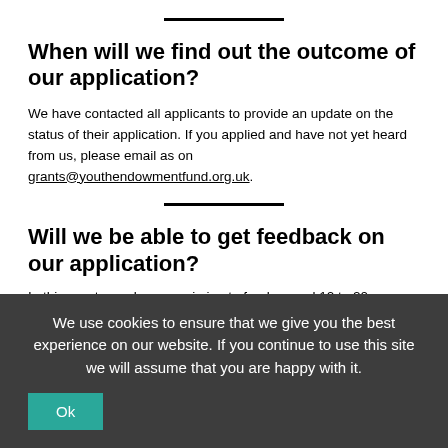When will we find out the outcome of our application?
We have contacted all applicants to provide an update on the status of their application. If you applied and have not yet heard from us, please email as on grants@youthendowmentfund.org.uk.
Will we be able to get feedback on our application?
In this grant round we are aiming to fund around 10 to 20
We use cookies to ensure that we give you the best experience on our website. If you continue to use this site we will assume that you are happy with it.